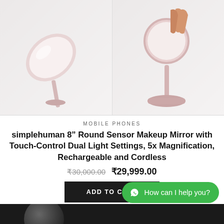[Figure (photo): Two side-by-side product images of a pink/rose gold simplehuman sensor makeup mirror on a light gray background. Left image shows the mirror tilted at an angle. Right image shows a hand touching/adjusting the mirror from above.]
MOBILE PHONES
simplehuman 8" Round Sensor Makeup Mirror with Touch-Control Dual Light Settings, 5x Magnification, Rechargeable and Cordless
₹30,000.00  ₹29,999.00
ADD TO CART
How can I help you?